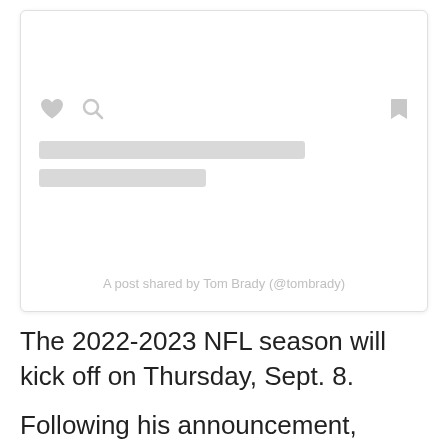[Figure (screenshot): Embedded social media post card (Instagram embed) showing loading/skeleton state with heart and comment icons, a bookmark icon, two gray skeleton lines for text, and caption 'A post shared by Tom Brady (@tombrady)']
The 2022-2023 NFL season will kick off on Thursday, Sept. 8.
Following his announcement, Brady's wife, Gisele